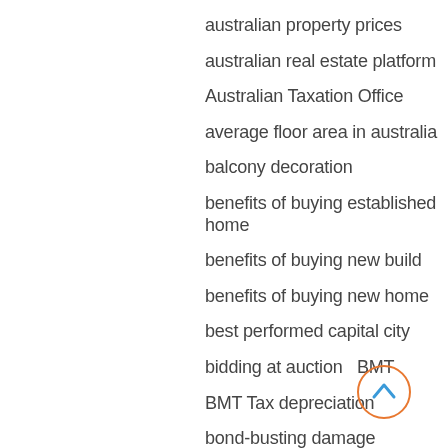australian property prices
australian real estate platform
Australian Taxation Office
average floor area in australia
balcony decoration
benefits of buying established home
benefits of buying new build
benefits of buying new home
best performed capital city
bidding at auction   BMT
BMT Tax depreciation
bond-busting damage
borrowing criteria
borrowing rates australia
building compliance   building innovation